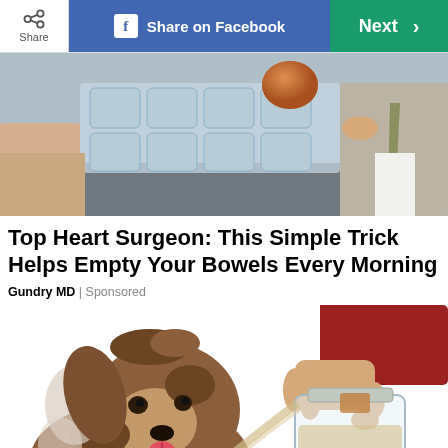[Figure (screenshot): Top navigation toolbar with Share button, Share on Facebook button (blue), and Next button (green)]
[Figure (photo): Photo of a person in a suit holding an egg next to packages of what appear to be water or ice packs on a table, with another person's arm visible on the left]
Top Heart Surgeon: This Simple Trick Helps Empty Your Bowels Every Morning
Gundry MD | Sponsored
[Figure (illustration): Illustration of a shaggy brown dog (resembling a Labradoodle) looking at a glass jar being tipped by a human hand wearing a red sleeve, with liquid pouring out of the jar]